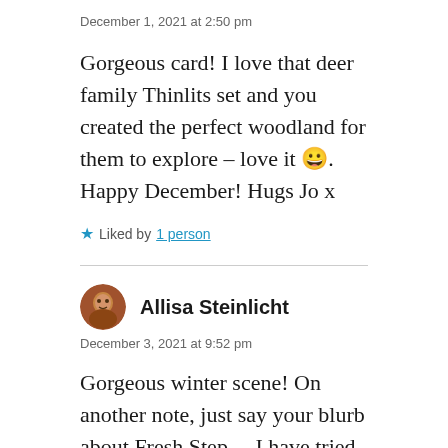December 1, 2021 at 2:50 pm
Gorgeous card! I love that deer family Thinlits set and you created the perfect woodland for them to explore – love it 😀. Happy December! Hugs Jo x
★ Liked by 1 person
Allisa Steinlicht
December 3, 2021 at 9:52 pm
Gorgeous winter scene! On another note, just say your blurb about Fresh Step....I have tried so many litters and have always ended back up with Fresh Step. I will have to give Elsey's a try